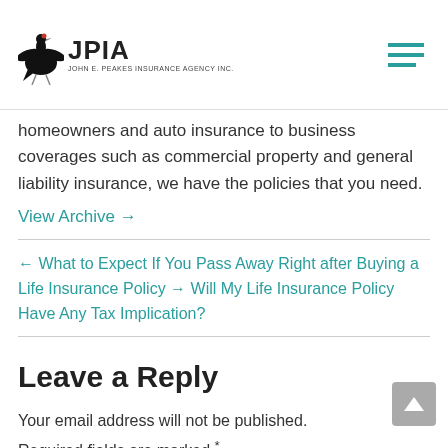JPIA — John E. Peakes Insurance Agency Inc.
homeowners and auto insurance to business coverages such as commercial property and general liability insurance, we have the policies that you need.
View Archive →
← What to Expect If You Pass Away Right after Buying a Life Insurance Policy → Will My Life Insurance Policy Have Any Tax Implication?
Leave a Reply
Your email address will not be published.
Required fields are marked *